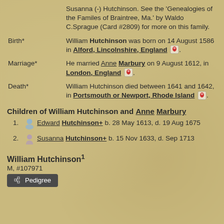Susanna (-) Hutchinson. See the 'Genealogies of the Familes of Braintree, Ma.' by Waldo C.Sprague (Card #2809) for more on this family.
Birth* — William Hutchinson was born on 14 August 1586 in Alford, Lincolnshire, England.
Marriage* — He married Anne Marbury on 9 August 1612, in London, England.
Death* — William Hutchinson died between 1641 and 1642, in Portsmouth or Newport, Rhode Island.
Children of William Hutchinson and Anne Marbury
1. Edward Hutchinson+ b. 28 May 1613, d. 19 Aug 1675
2. Susanna Hutchinson+ b. 15 Nov 1633, d. Sep 1713
William Hutchinson1
M, #107971
Pedigree